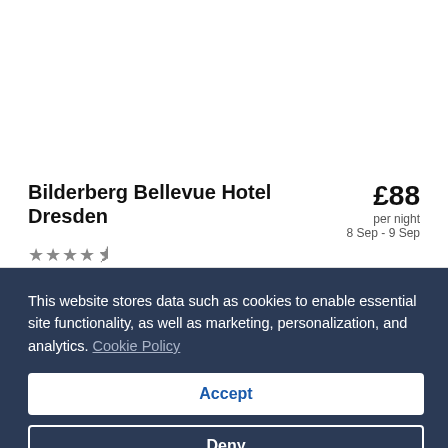Bilderberg Bellevue Hotel Dresden
★★★★½
Grosse Meissner Str. 15, Dresden, SN, 1097
£88 per night 8 Sep - 9 Sep
Bilderberg Bellevue Hotel Dresden's great location gets high marks from our customers. During your stay, you're just a quick walk from Dresden Elbe Valley. You'll find features such as fre…
This website stores data such as cookies to enable essential site functionality, as well as marketing, personalization, and analytics. Cookie Policy
Accept
Deny